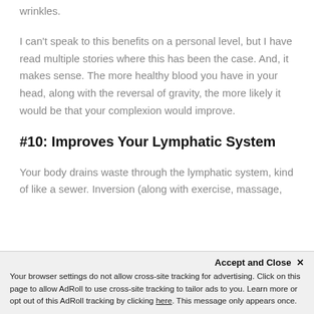wrinkles.
I can't speak to this benefits on a personal level, but I have read multiple stories where this has been the case. And, it makes sense. The more healthy blood you have in your head, along with the reversal of gravity, the more likely it would be that your complexion would improve.
#10: Improves Your Lymphatic System
Your body drains waste through the lymphatic system, kind of like a sewer. Inversion (along with exercise, massage,
Accept and Close ✕
Your browser settings do not allow cross-site tracking for advertising. Click on this page to allow AdRoll to use cross-site tracking to tailor ads to you. Learn more or opt out of this AdRoll tracking by clicking here. This message only appears once.